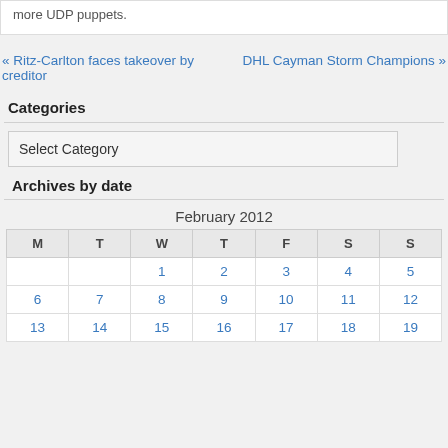more UDP puppets.
« Ritz-Carlton faces takeover by creditor
DHL Cayman Storm Champions »
Categories
Select Category
Archives by date
| M | T | W | T | F | S | S |
| --- | --- | --- | --- | --- | --- | --- |
|  |  | 1 | 2 | 3 | 4 | 5 |
| 6 | 7 | 8 | 9 | 10 | 11 | 12 |
| 13 | 14 | 15 | 16 | 17 | 18 | 19 |